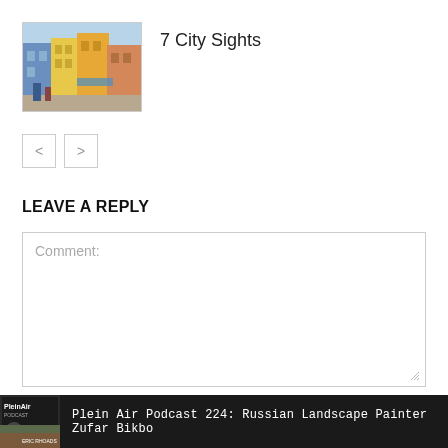[Figure (illustration): Thumbnail image of a colorful city street scene painting showing European-style buildings]
7 City Sights
[Figure (other): Navigation buttons: previous (<) and next (>)]
LEAVE A REPLY
Comment:
Plein Air Podcast 224: Russian Landscape Painter Zufar Bikbo